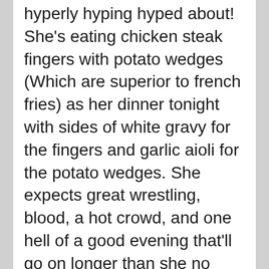hyperly hyping hyped about! She's eating chicken steak fingers with potato wedges (Which are superior to french fries) as her dinner tonight with sides of white gravy for the fingers and garlic aioli for the potato wedges. She expects great wrestling, blood, a hot crowd, and one hell of a good evening that'll go on longer than she no doubt wishes. Follow her Twitter at @TheJerriest_Jer. Trans Rights are Human Rights.
Joey O'Doherty: Joey is the host of the soon to debut Wild Thing – Jon Moxley Career Review Podcast. Follow him